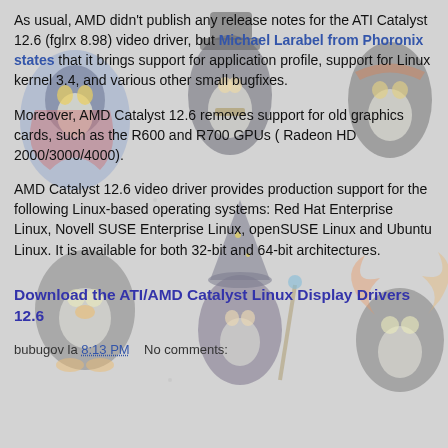[Figure (illustration): Background illustration of Linux penguin mascot characters (Tux and variants) arranged across the page background in muted colors]
As usual, AMD didn't publish any release notes for the ATI Catalyst 12.6 (fglrx 8.98) video driver, but Michael Larabel from Phoronix states that it brings support for application profile, support for Linux kernel 3.4, and various other small bugfixes.
Moreover, AMD Catalyst 12.6 removes support for old graphics cards, such as the R600 and R700 GPUs ( Radeon HD 2000/3000/4000).
AMD Catalyst 12.6 video driver provides production support for the following Linux-based operating systems: Red Hat Enterprise Linux, Novell SUSE Enterprise Linux, openSUSE Linux and Ubuntu Linux. It is available for both 32-bit and 64-bit architectures.
Download the ATI/AMD Catalyst Linux Display Drivers 12.6
bubugov la 8:13 PM    No comments: